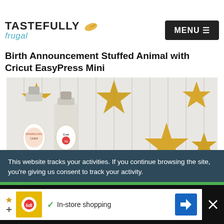TASTEFULLY frugal | MENU
Birth Announcement Stuffed Animal with Cricut EasyPress Mini
[Figure (photo): Celebration scene with two small champagne/cider bottles and gold glitter stars on a white beadboard background, with a wooden CHEERS sign]
This website tracks your activities. If you continue browsing the site, you’re giving us consent to track your activity.
[Figure (infographic): Advertisement bar showing Lidl logo, checkmark, In-store shopping text, blue navigation diamond icon, and close button]